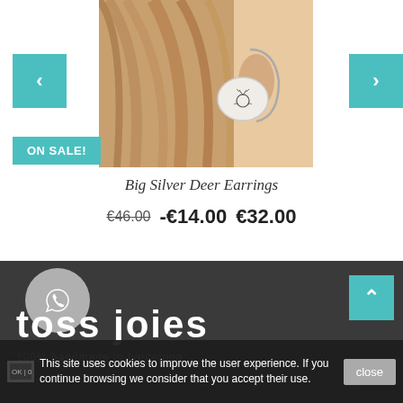[Figure (photo): Close-up photo of a woman's ear wearing a silver circular earring with a deer/stag head design engraved on it, hanging from a hoop]
ON SALE!
Big Silver Deer Earrings
€46.00  -€14.00  €32.00
[Figure (logo): toss joies brand logo in white text on dark background with 100% handmade in barcelona subtitle]
This site uses cookies to improve the user experience. If you continue browsing we consider that you accept their use.
close